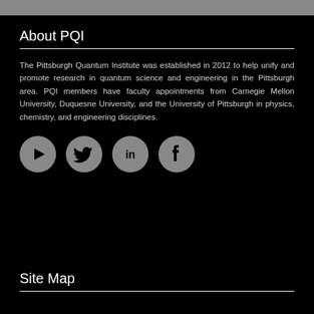About PQI
The Pittsburgh Quantum Institute was established in 2012 to help unify and promote research in quantum science and engineering in the Pittsburgh area. PQI members have faculty appointments from Carnegie Mellon University, Duquesne University, and the University of Pittsburgh in physics, chemistry, and engineering disciplines.
[Figure (infographic): Four social media icons in a row: YouTube, Twitter, LinkedIn, Facebook — grey circular buttons on black background.]
Site Map